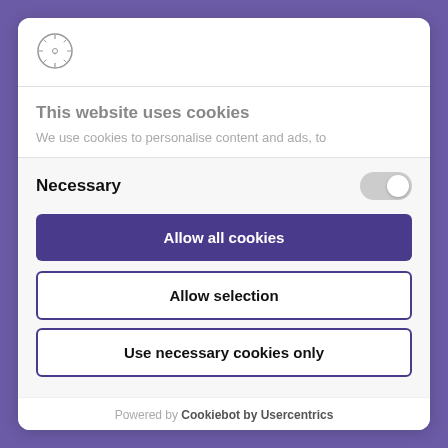[Figure (logo): Circular logo/icon in the header]
This website uses cookies
We use cookies to personalise content and ads, to
Necessary
Allow all cookies
Allow selection
Use necessary cookies only
Powered by Cookiebot by Usercentrics